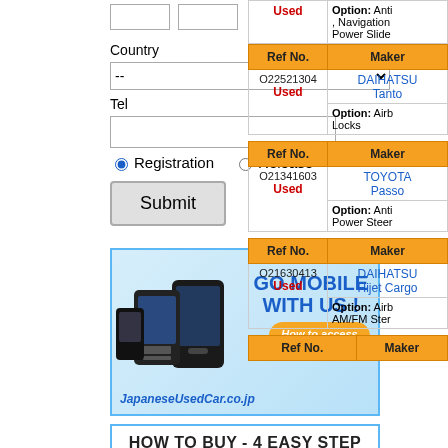Country
Tel
Registration / Release
[Figure (screenshot): Go Mobile With Us banner - JapaneseUsedCar.co.jp mobile site advertisement with phones]
[Figure (infographic): How To Buy - 4 Easy Step banner with step numbers 1 2 3 4]
| Ref No. | Maker |
| --- | --- |
|  | Used | Option: Anti, Navigation, Power Slide |
| Ref No. | Maker |
| --- | --- |
| O22521304 | Used | DAIHATSU Tanto | Option: Airb Locks |
| Ref No. | Maker |
| --- | --- |
| O21341603 | Used | TOYOTA Passo | Option: Anti Power Steer |
| Ref No. | Maker |
| --- | --- |
| O21630413 | Used | DAIHATSU Hijet Cargo | Option: Airb AM/FM Ster |